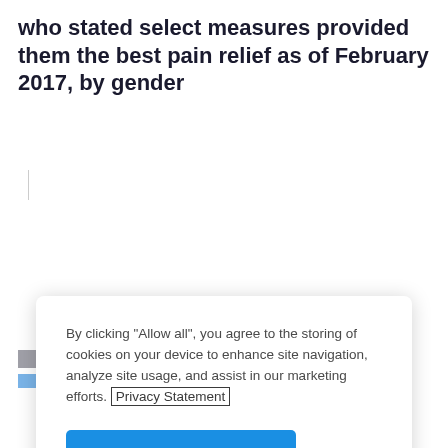who stated select measures provided them the best pain relief as of February 2017, by gender
[Figure (screenshot): Cookie consent dialog overlay with text, Privacy Statement link, Allow all button, and Cookie Consent Manager link]